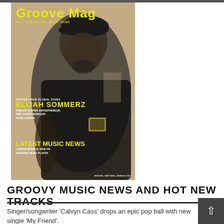[Figure (photo): Groove Mag magazine cover featuring a man wearing a black Nike cap and black jacket, with yellow title text 'Groove Mag', subheadings about Elijah Sommerz and Latest Music News, dated Digital Edition March 2017]
GROOVY MUSIC NEWS AND HOT NEW TRACKS
Singer/songwriter 'Calvyn Cass' drops an epic pop ball with new single 'My Friend'.